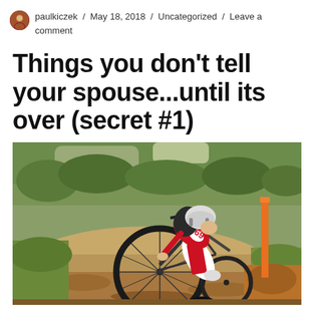paulkiczek / May 18, 2018 / Uncategorized / Leave a comment
Things you don't tell your spouse...until its over (secret #1)
[Figure (photo): A cyclist in a red and white jersey and helmet bending over a mountain bike on a dirt trail, appearing to be adjusting or fixing the bike. Green grass and trees visible in background with an orange pole/stake on the right side.]